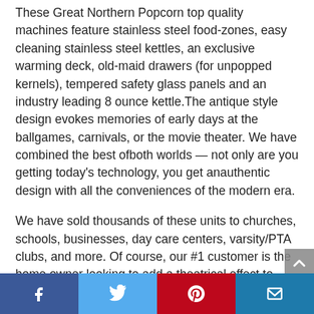These Great Northern Popcorn top quality machines feature stainless steel food-zones, easy cleaning stainless steel kettles, an exclusive warming deck, old-maid drawers (for unpopped kernels), tempered safety glass panels and an industry leading 8 ounce kettle.The antique style design evokes memories of early days at the ballgames, carnivals, or the movie theater. We have combined the best ofboth worlds — not only are you getting today's technology, you get anauthentic design with all the conveniences of the modern era.
We have sold thousands of these units to churches, schools, businesses, day care centers, varsity/PTA clubs, and more. Of course, our #1 customer is the home owner looking to add a theatrical effect to their home theater.
[Figure (infographic): Social sharing bar with four buttons: Facebook (dark blue), Twitter (light blue), Pinterest (red), Email (steel blue)]